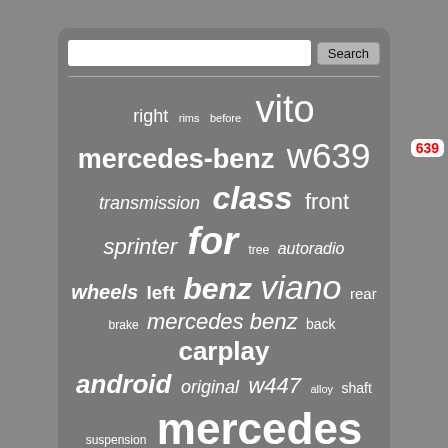[Figure (screenshot): Tag cloud on a grey rounded panel with a search bar at top. Words represent automotive parts and models related to Mercedes-Benz Vito/Viano. Larger words: vito, mercedes-benz, w639, class, for, viano, benz, carplay, android, mercedes, radio. Smaller words: right, rims, before, transmission, front, sprinter, tree, autoradio, wheels, left, rear, brake, mercedes benz, back, original, w447, alloy, shaft, suspension, mixto, w169, engine, crafter, vitoviano.]